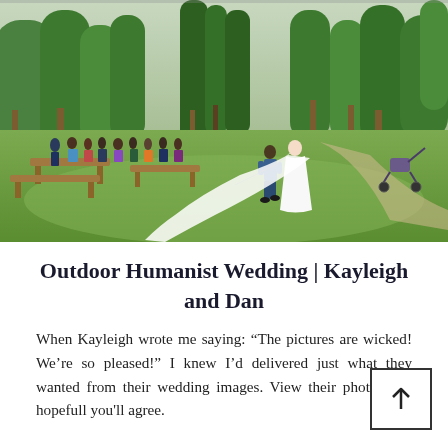[Figure (photo): Outdoor wedding scene in a park setting. A bride in a white dress with a long veil walks with a man in a blue suit across a green lawn. Wedding guests mingle in the background near wooden picnic benches. Tall trees line the edges of the grassy area.]
Outdoor Humanist Wedding | Kayleigh and Dan
When Kayleigh wrote me saying: “The pictures are wicked! We’re so pleased!” I knew I’d delivered just what they wanted from their wedding images. View their photos and hopefull you'll agree.